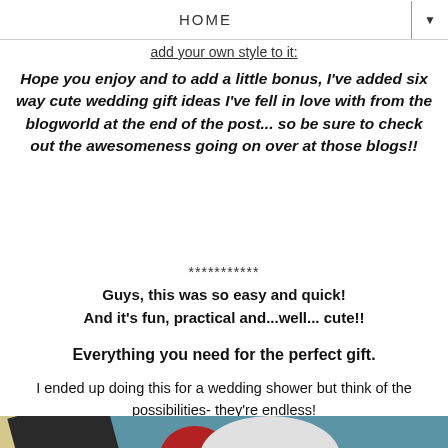HOME
add your own style to it:
Hope you enjoy and to add a little bonus, I've added six way cute wedding gift ideas I've fell in love with from the blogworld at the end of the post... so be sure to check out the awesomeness going on over at those blogs!!
***********
Guys, this was so easy and quick!
And it's fun, practical and...well... cute!!
Everything you need for the perfect gift.
I ended up doing this for a wedding shower but think of the possibilities- they're endless!
[Figure (photo): Photo of craft supplies including a ruler, dark object, white rounded shape, and red circular element on a teal/blue background.]